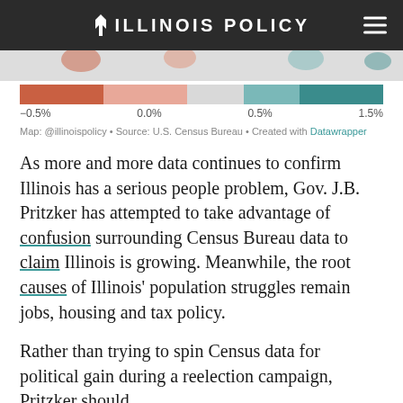ILLINOIS POLICY
[Figure (other): Color legend bar for a choropleth map showing population change ranges from -0.5% to 1.5%, with colors ranging from orange-red (negative) to teal (positive). Labels: -0.5%, 0.0%, 0.5%, 1.5%]
Map: @illinoispolicy • Source: U.S. Census Bureau • Created with Datawrapper
As more and more data continues to confirm Illinois has a serious people problem, Gov. J.B. Pritzker has attempted to take advantage of confusion surrounding Census Bureau data to claim Illinois is growing. Meanwhile, the root causes of Illinois' population struggles remain jobs, housing and tax policy.
Rather than trying to spin Census data for political gain during a reelection campaign, Pritzker should